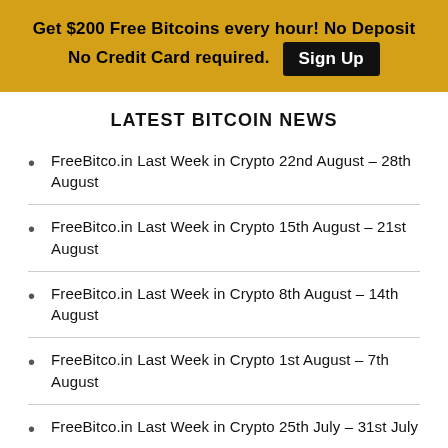Get $200 Free Bitcoins every hour! No Deposit No Credit Card required. Sign Up
LATEST BITCOIN NEWS
FreeBitco.in Last Week in Crypto 22nd August – 28th August
FreeBitco.in Last Week in Crypto 15th August – 21st August
FreeBitco.in Last Week in Crypto 8th August – 14th August
FreeBitco.in Last Week in Crypto 1st August – 7th August
FreeBitco.in Last Week in Crypto 25th July – 31st July